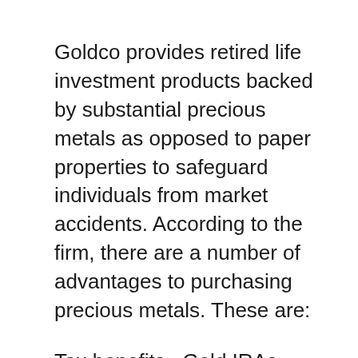Goldco provides retired life investment products backed by substantial precious metals as opposed to paper properties to safeguard individuals from market accidents. According to the firm, there are a number of advantages to purchasing precious metals. These are:
Tax benefits– Gold IRAs gains are tax-free. Easy rollover– investors can rollover/transfer existing retired lives funds right into Gold IRAs.
Security– there is much less threat associated with rare-earth elements because the value appreciates minimally whenever. Diversity– gold investments shield your cash from some special inflation or combined...